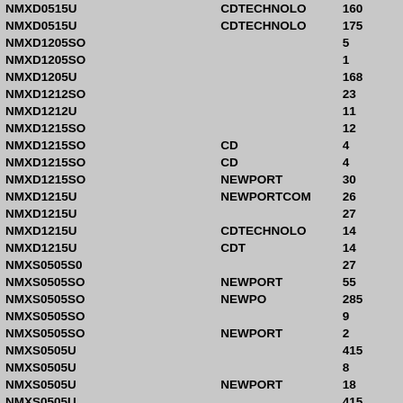| Code | Vendor | Value |
| --- | --- | --- |
| NMXD0515U | CDTECHNOLO | 160 |
| NMXD0515U | CDTECHNOLO | 175 |
| NMXD1205SO |  | 5 |
| NMXD1205SO |  | 1 |
| NMXD1205U |  | 168 |
| NMXD1212SO |  | 23 |
| NMXD1212U |  | 11 |
| NMXD1215SO |  | 12 |
| NMXD1215SO | CD | 4 |
| NMXD1215SO | CD | 4 |
| NMXD1215SO | NEWPORT | 30 |
| NMXD1215U | NEWPORTCOM | 26 |
| NMXD1215U |  | 27 |
| NMXD1215U | CDTECHNOLO | 14 |
| NMXD1215U | CDT | 14 |
| NMXS0505S0 |  | 27 |
| NMXS0505SO | NEWPORT | 55 |
| NMXS0505SO | NEWPO | 285 |
| NMXS0505SO |  | 9 |
| NMXS0505SO | NEWPORT | 2 |
| NMXS0505U |  | 415 |
| NMXS0505U |  | 8 |
| NMXS0505U | NEWPORT | 18 |
| NMXS0505U |  | 415 |
| NMXS0505U 9947 S |  | 415 |